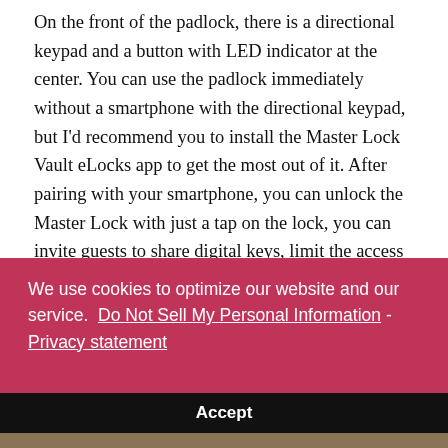On the front of the padlock, there is a directional keypad and a button with LED indicator at the center. You can use the padlock immediately without a smartphone with the directional keypad, but I'd recommend you to install the Master Lock Vault eLocks app to get the most out of it. After pairing with your smartphone, you can unlock the Master Lock with just a tap on the lock, you can invite guests to share digital keys, limit the access to days or nights, use the Locker mode to store your smartphone inside a locker (unlock with the keypad), monitor access history and receive tamper alerts and
We use cookies to optimize our website and our service.  Do Not Sell My Personal Information - Privacy statement
Accept
[Figure (photo): Bottom edge of a photo showing a wooden surface and a blue padlock device]